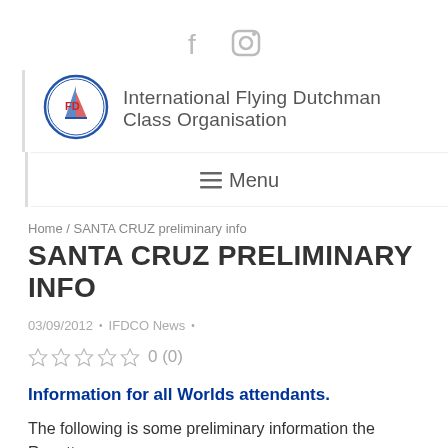[Figure (illustration): Facebook and Instagram social media icons in light gray]
[Figure (logo): International Flying Dutchman Class Organisation circular logo with sailboat]
International Flying Dutchman Class Organisation
☰ Menu
Home / SANTA CRUZ preliminary info
SANTA CRUZ PRELIMINARY INFO
03/09/2012  •  IFDCO News  •
0 (0)
Information for all Worlds attendants.
The following is some preliminary information the Regatta